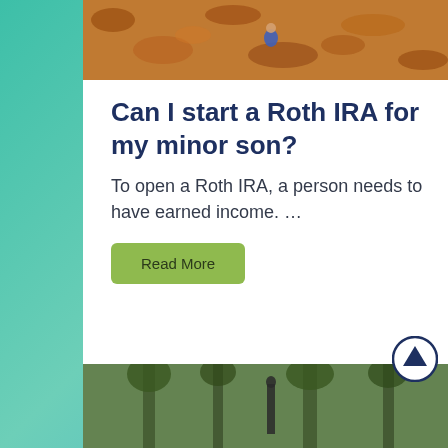[Figure (photo): Child playing in autumn leaves, top portion of image visible]
Can I start a Roth IRA for my minor son?
To open a Roth IRA, a person needs to have earned income. …
Read More
[Figure (photo): Person standing in a forested area, bottom portion of page]